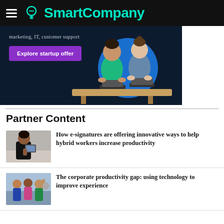SmartCompany
[Figure (photo): Advertisement banner with dark navy background showing two women sitting on a table with laptops, a blue circle behind them, text 'marketing, IT, customer support' and a purple 'Explore startup offer' button]
Partner Content
[Figure (photo): Thumbnail image of a woman holding a tablet in an office setting]
How e-signatures are offering innovative ways to help hybrid workers increase productivity
[Figure (photo): Thumbnail image of a group of people in an office, some celebrating or raising hands]
The corporate productivity gap: using technology to improve experience